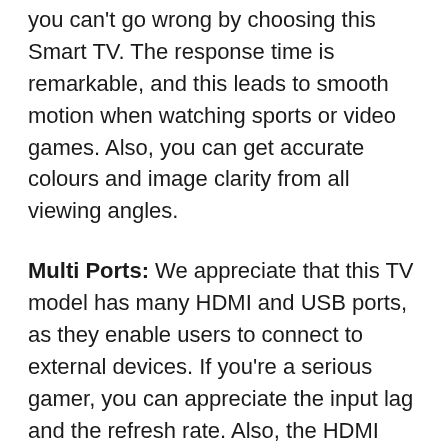you can't go wrong by choosing this Smart TV. The response time is remarkable, and this leads to smooth motion when watching sports or video games. Also, you can get accurate colours and image clarity from all viewing angles.
Multi Ports: We appreciate that this TV model has many HDMI and USB ports, as they enable users to connect to external devices. If you're a serious gamer, you can appreciate the input lag and the refresh rate. Also, the HDMI ports enable you to take advantage of the 4K capabilities of various game consoles such as Xbox Series X and PlayStation.